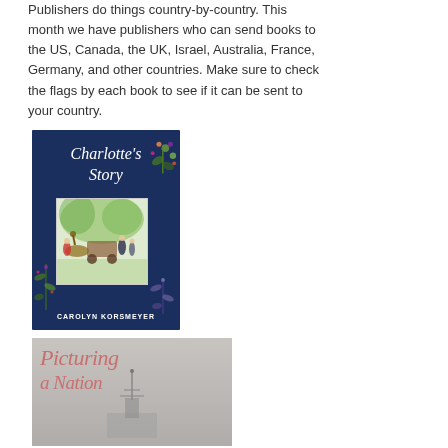Publishers do things country-by-country. This month we have publishers who can send books to the US, Canada, the UK, Israel, Australia, France, Germany, and other countries. Make sure to check the flags by each book to see if it can be sent to your country.
[Figure (illustration): Book cover: Charlotte's Story by Carolyn Korsmeyer. Dark navy blue cover with floral decorations, cursive white title text, and a central watercolor illustration of Victorian-era figures near a horse-drawn carriage.]
[Figure (illustration): Book cover: Picturing a Nation. Light gray cover with large italic pink/rose script title text. A small structure or antenna visible at bottom center.]